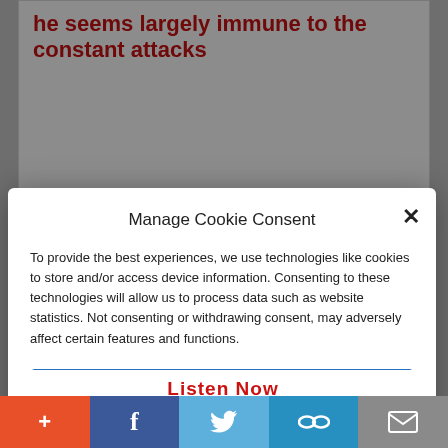he seems largely immune to the constant attacks
Manage Cookie Consent
To provide the best experiences, we use technologies like cookies to store and/or access device information. Consenting to these technologies will allow us to process data such as website statistics. Not consenting or withdrawing consent, may adversely affect certain features and functions.
Accept
Cookie Policy   Privacy Policy
Listen Now
+ f (twitter) (link) (mail)